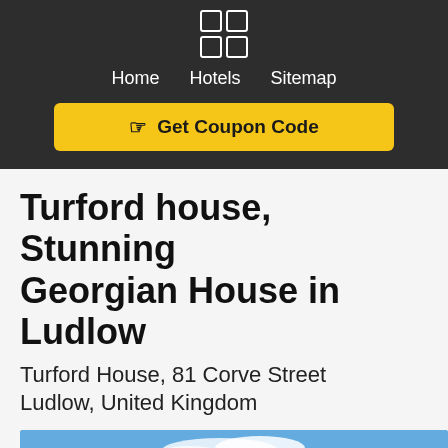[Figure (logo): 2x2 grid of square icons in white outline on dark background]
Home  Hotels  Sitemap
☞ Get Coupon Code
Turford house, Stunning Georgian House in Ludlow
Turford House, 81 Corve Street
Ludlow, United Kingdom
[Figure (photo): Exterior photo of a Georgian building with brick chimneys and a TV aerial against a blue sky with white clouds]